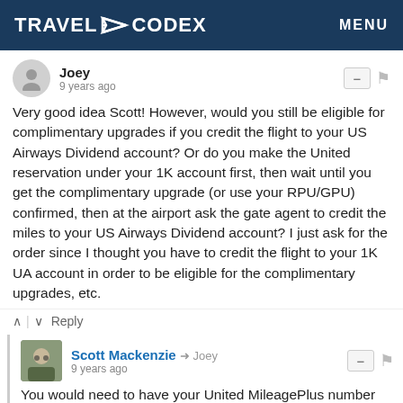TRAVEL CODEX | MENU
Joey
9 years ago
Very good idea Scott! However, would you still be eligible for complimentary upgrades if you credit the flight to your US Airways Dividend account? Or do you make the United reservation under your 1K account first, then wait until you get the complimentary upgrade (or use your RPU/GPU) confirmed, then at the airport ask the gate agent to credit the miles to your US Airways Dividend account? I just ask for the order since I thought you have to credit the flight to your 1K UA account in order to be eligible for the complimentary upgrades, etc.
Reply
Scott Mackenzie → Joey
9 years ago
You would need to have your United MileagePlus number on the ticket in order to get an upgrade to clear. However, I think you could change the frequent flyer program after that. An agent might grumble, and it might take more than one